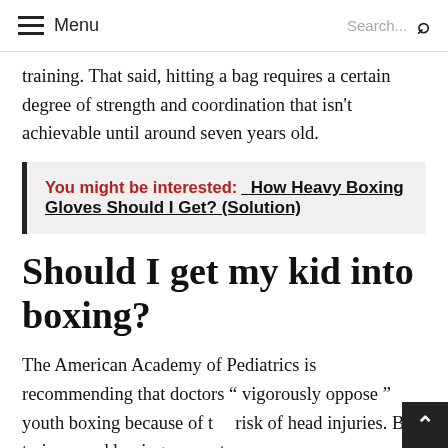Menu  Search...
training. That said, hitting a bag requires a certain degree of strength and coordination that isn't achievable until around seven years old.
You might be interested:  How Heavy Boxing Gloves Should I Get? (Solution)
Should I get my kid into boxing?
The American Academy of Pediatrics is recommending that doctors " vigorously oppose " youth boxing because of the risk of head injuries. But trainers and boxing supporters say